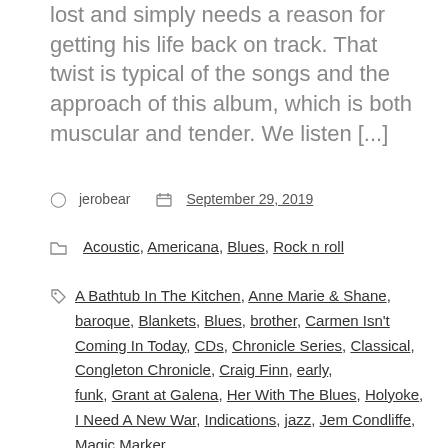lost and simply needs a reason for getting his life back on track. That twist is typical of the songs and the approach of this album, which is both muscular and tender. We listen [...]
jerobear   September 29, 2019
Acoustic, Americana, Blues, Rock n roll
A Bathtub In The Kitchen, Anne Marie & Shane, baroque, Blankets, Blues, brother, Carmen Isn't Coming In Today, CDs, Chronicle Series, Classical, Congleton Chronicle, Craig Finn, early, funk, Grant at Galena, Her With The Blues, Holyoke, I Need A New War, Indications, jazz, Jem Condliffe, Magic Marker, music, pop, Reggae, Review Corner, reviews, rock, Something to Hope For, soul